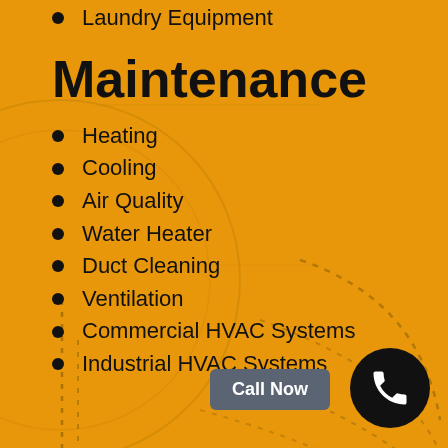Laundry Equipment
Maintenance
Heating
Cooling
Air Quality
Water Heater
Duct Cleaning
Ventilation
Commercial HVAC Systems
Industrial HVAC Systems